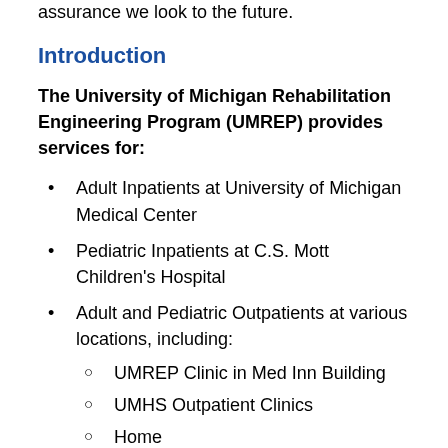assurance we look to the future.
Introduction
The University of Michigan Rehabilitation Engineering Program (UMREP) provides services for:
Adult Inpatients at University of Michigan Medical Center
Pediatric Inpatients at C.S. Mott Children's Hospital
Adult and Pediatric Outpatients at various locations, including:
UMREP Clinic in Med Inn Building
UMHS Outpatient Clinics
Home
Workplace
School
Neuro Centers